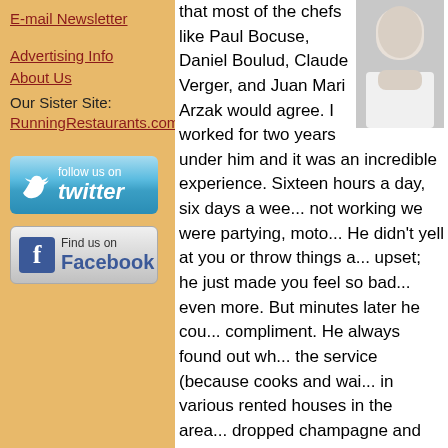E-mail Newsletter
Advertising Info
About Us
Our Sister Site:
RunningRestaurants.com
[Figure (logo): Follow us on Twitter button with bird icon]
[Figure (logo): Find us on Facebook button with Facebook icon]
that most of the chefs like Paul Bocuse, Daniel Boulud, Claude Verger, and Juan Mari Arzak would agree. I worked for two years under him and it was an incredible experience. Sixteen hours a day, six days a wee... not working we were partying, moto... He didn't yell at you or throw things a... upset; he just made you feel so bad... even more. But minutes later he cou... compliment. He always found out wh... the service (because cooks and wai... in various rented houses in the area... dropped champagne and left. Miche... a pastry chef, and was one of the firs... who created the "Cuisine Minceur" a... vide" frozen cuisine (maybe too earl...
[Figure (photo): Photo of chef in white chef's coat]
RR: Why did you come to America... settle in the Philadelphia area?
Olivier: In 1986, the late Gilbert Le C... a chef to open "Le Bernardin" in New... Guerard if he knew someone and Ch...